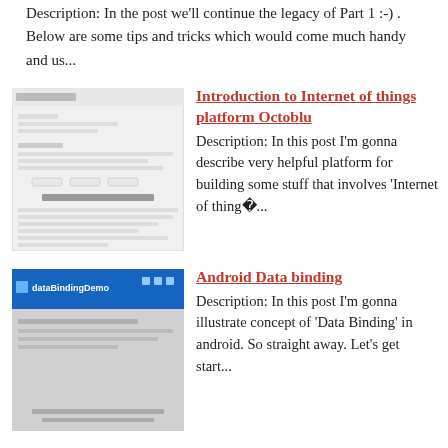Description: In the post we'll continue the legacy of Part 1 :-) . Below are some tips and tricks which would come much handy and us...
[Figure (screenshot): Screenshot of a web application or form interface with text fields and a section labeled 'The Onbeg Octoblu']
Introduction to Internet of things platform Octoblu
Description:  In this post I'm gonna describe very helpful platform for building some stuff that involves 'Internet of thing�...
[Figure (screenshot): Dark blue banner screenshot with text 'dataBindingDemo']
Android Data binding
Description: In this post I'm gonna illustrate concept of 'Data Binding' in android. So straight away. Let's get start...
[Figure (screenshot): Screenshot of Android Studio IDE showing Tools menu with options including AVD Manager, SDK Manager, and Layout Inspector highlighted]
Tips & tricks android developer should know - part 4
Description: In this post I'm gonna show you some